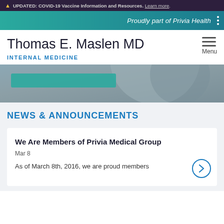UPDATED: COVID-19 Vaccine Information and Resources. Learn more.
Proudly part of Privia Health
Thomas E. Maslen MD
INTERNAL MEDICINE
[Figure (photo): Blurred hero image with a teal/green button overlay and circular shape, background of a muted blue-grey medical setting]
NEWS & ANNOUNCEMENTS
We Are Members of Privia Medical Group
Mar 8
As of March 8th, 2016, we are proud members